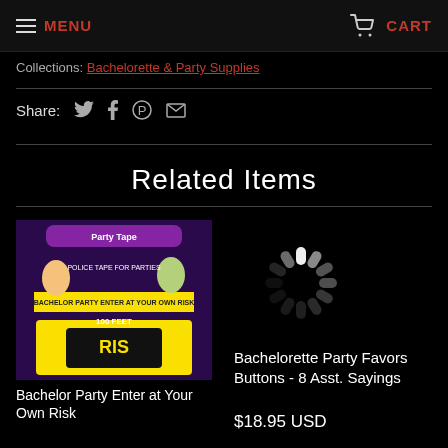MENU   CART
Collections: Bachelorette & Party Supplies
Share:
Related Items
[Figure (photo): Bachelor Party Enter at Your Own Risk police tape product image - yellow and black tape roll, 100 feet]
Bachelor Party Enter at Your Own Risk
[Figure (other): Loading spinner icon]
Bachelorette Party Favors Buttons - 8 Asst. Sayings
$18.95 USD